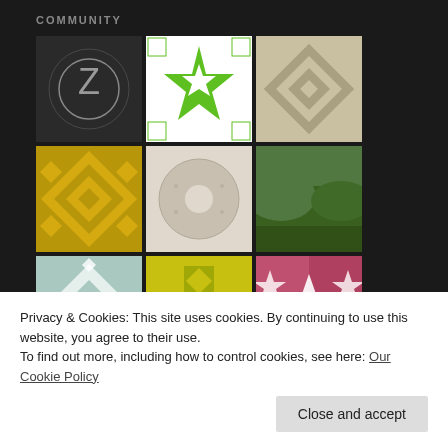COMMUNITY
[Figure (other): Grid of 10 thumbnail images showing various quilt and pattern designs plus a landscape photo, arranged in two rows]
TRANSLATE
Privacy & Cookies: This site uses cookies. By continuing to use this website, you agree to their use.
To find out more, including how to control cookies, see here: Our Cookie Policy
Close and accept